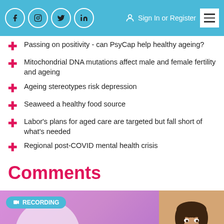Social icons: Facebook, Instagram, Twitter, LinkedIn | Sign In or Register | Menu
Passing on positivity - can PsyCap help healthy ageing?
Mitochondrial DNA mutations affect male and female fertility and ageing
Ageing stereotypes risk depression
Seaweed a healthy food source
Labor's plans for aged care are targeted but fall short of what's needed
Regional post-COVID mental health crisis
Comments
[Figure (photo): Recording banner with teal 'RECORDING' tag, purple/pink gradient background, circular white overlay, nurse smiling on the right, and 'EXHAUSTED TO' text in teal at the bottom left]